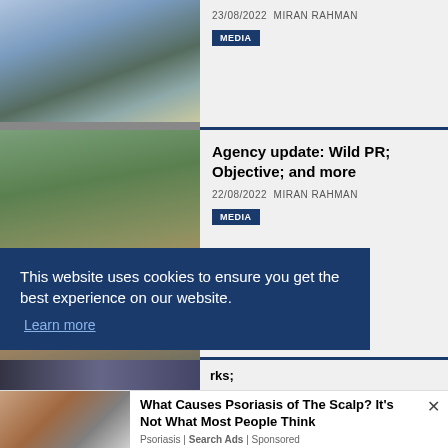[Figure (photo): Photo of a bridge over a canal in a city, bare trees visible]
23/08/2022 MIRAN RAHMAN
MEDIA
[Figure (photo): Group photo of approximately 15 people standing outdoors in a courtyard with greenery]
Agency update: Wild PR; Objective; and more
22/08/2022 MIRAN RAHMAN
MEDIA
[Figure (photo): Partial view of a third article image, partially obscured]
rks;
This website uses cookies to ensure you get the best experience on our website.
Learn more
[Figure (photo): Close-up photo of a person's scalp showing psoriasis condition]
What Causes Psoriasis of The Scalp? It's Not What Most People Think
Psoriasis | Search Ads | Sponsored